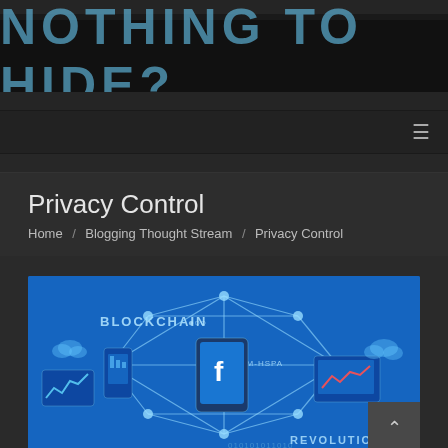NOTHING TO HIDE?
Privacy Control
Home / Blogging Thought Stream / Privacy Control
[Figure (illustration): Blockchain technology illustration on blue background showing a hand holding a smartphone with Facebook logo, surrounded by connected nodes forming a geometric shape, with text BLOCKCHAIN, GSM HSPA, digital binary code, and REVOLUTION. Various tech icons including laptops, tablets, cloud icons and charts are visible around the edges.]
Facebook Regulation